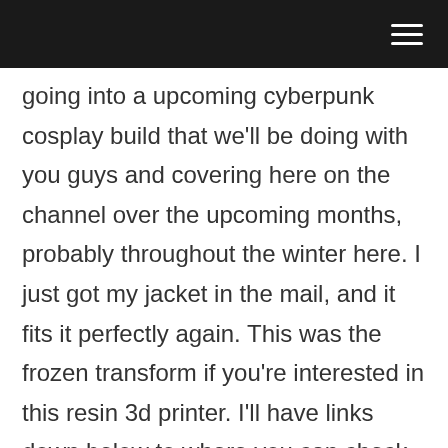going into a upcoming cyberpunk cosplay build that we'll be doing with you guys and covering here on the channel over the upcoming months, probably throughout the winter here. I just got my jacket in the mail, and it fits it perfectly again. This was the frozen transform if you're interested in this resin 3d printer. I'll have links down below to where you can check that out and find out more details pricing. All that good stuff on this